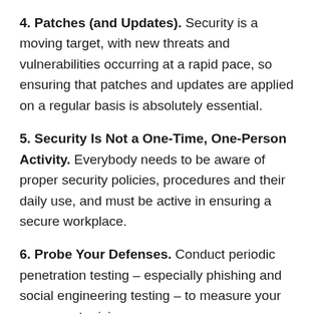4. Patches (and Updates). Security is a moving target, with new threats and vulnerabilities occurring at a rapid pace, so ensuring that patches and updates are applied on a regular basis is absolutely essential.
5. Security Is Not a One-Time, One-Person Activity. Everybody needs to be aware of proper security policies, procedures and their daily use, and must be active in ensuring a secure workplace.
6. Probe Your Defenses. Conduct periodic penetration testing – especially phishing and social engineering testing – to measure your success at raising awareness.
Connection is committed to promoting cyber security and online safety. Our in-house team of security experts